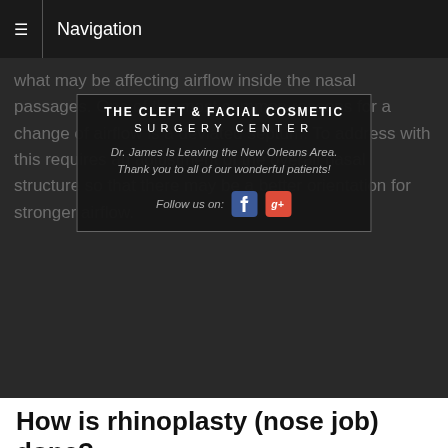Navigation
what may be affecting airflow inside the nasal passages. One of the most common reasons for a change of airflow is a deviated septum. To address with this requires an adjustment of the overall nasal structure so that there may be a better orientation for stronger airflow.
[Figure (screenshot): The Cleft & Facial Cosmetic Surgery Center overlay popup with logo, announcement that Dr. James is leaving the New Orleans Area, thank you message, and social media follow links for Facebook and Google+.]
How is rhinoplasty (nose job) done?
Rhinoplasty is done with either a local or general anesthesia in an outpatient procedure. On occasion, a patient may be required to stay overnight wherever the surgery is taking place. Dr. James uses either the open or closed method for rhinoplasty, depending on the unique situation of each individual patient.
Open — The open method of rhinoplasty involves a small incision made across the columella (the small strip of skin between the nostrils). The skin is then lifted up and back from the tip of the nose, exposing the underlying tissues and